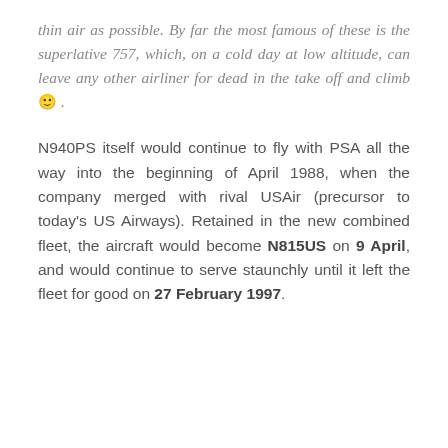thin air as possible. By far the most famous of these is the superlative 757, which, on a cold day at low altitude, can leave any other airliner for dead in the take off and climb 🙂 .
N940PS itself would continue to fly with PSA all the way into the beginning of April 1988, when the company merged with rival USAir (precursor to today's US Airways). Retained in the new combined fleet, the aircraft would become N815US on 9 April, and would continue to serve staunchly until it left the fleet for good on 27 February 1997.